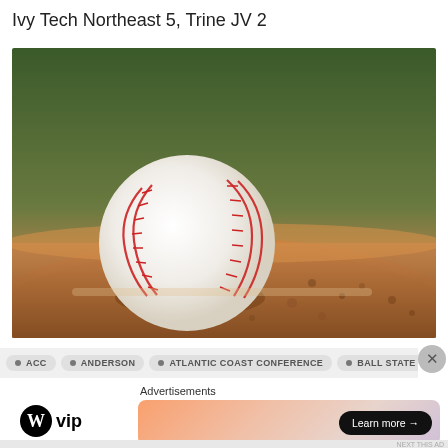Ivy Tech Northeast 5, Trine JV 2
[Figure (photo): Close-up photograph of a baseball resting on a pitching mound with red stitching visible, blurred green background and sandy dirt in the foreground.]
• ACC  • ANDERSON  • ATLANTIC COAST CONFERENCE  • BALL STATE
Advertisements
[Figure (logo): WordPress VIP logo with W circle icon and 'vip' text]
[Figure (other): Advertisement banner with gradient background and 'Learn more →' button]